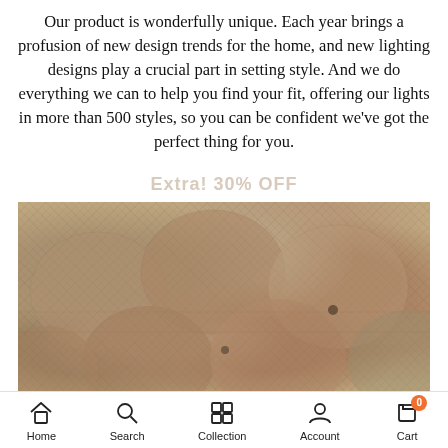Our product is wonderfully unique. Each year brings a profusion of new design trends for the home, and new lighting designs play a crucial part in setting style. And we do everything we can to help you find your fit, offering our lights in more than 500 styles, so you can be confident we've got the perfect thing for you.
Extra! 30% OFF
[Figure (photo): Close-up photo of multiple woven mesh lamp shades piled together, in a beige/natural tan color with visible diamond mesh weave pattern and circular openings]
Home | Search | Collection | Account | Cart (0)